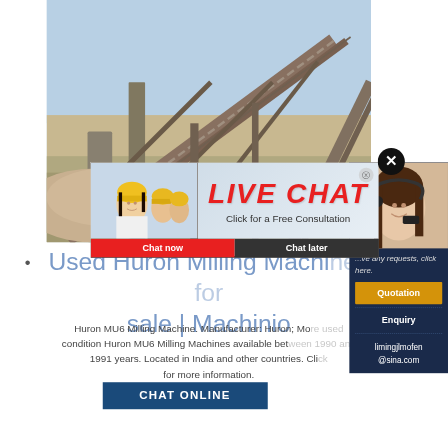[Figure (photo): Industrial mining/quarrying conveyor belt equipment photo with blue sky background]
[Figure (photo): Live chat popup overlay with construction workers in yellow hard hats and female customer service representative with headset]
Used Huron Milling Machines for sale | Machinio
Huron MU6 Milling Machine. Manufacturer: Huron; More used condition Huron MU6 Milling Machines available between 1990 and 1991 years. Located in India and other countries. Click for more information.
[Figure (screenshot): Right sidebar with customer service photo, Quotation button, Enquiry link, and email limingjlmofen@sina.com]